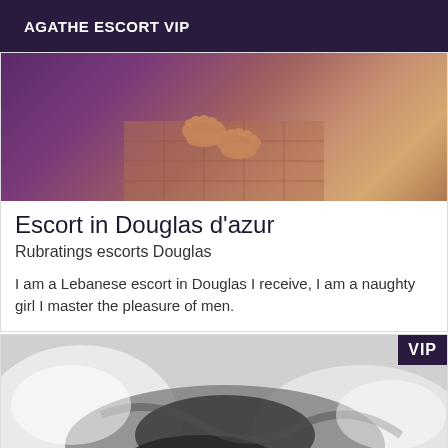AGATHE ESCORT VIP
[Figure (photo): Close-up photo of bare feet on a tiled floor with purple and warm-toned coloring]
Escort in Douglas d'azur
Rubratings escorts Douglas
I am a Lebanese escort in Douglas I receive, I am a naughty girl I master the pleasure of men.
[Figure (photo): Black and white photo of a woman in dark lingerie lying on white bedding, with a VIP badge in the top-right corner]